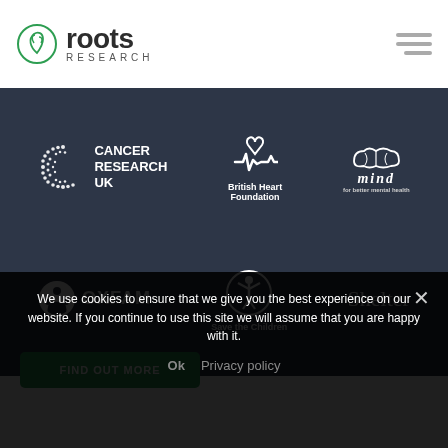[Figure (logo): Roots Research logo with leaf icon and text 'roots RESEARCH']
[Figure (illustration): Dark background section showing 6 charity logos: Cancer Research UK, British Heart Foundation, Mind, Oxfam, Save the Children, Shelter]
FIND OUT MORE
We use cookies to ensure that we give you the best experience on our website. If you continue to use this site we will assume that you are happy with it.
Ok    Privacy policy